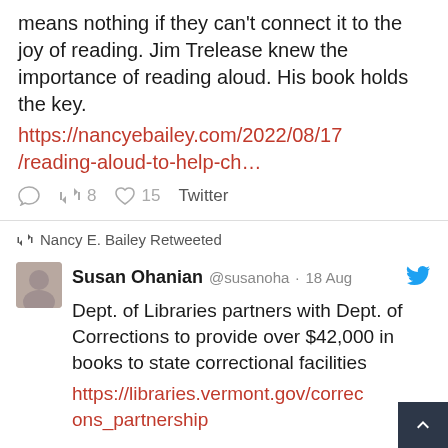Pushing phonics on young children means nothing if they can't connect it to the joy of reading. Jim Trelease knew the importance of reading aloud. His book holds the key.
https://nancyebailey.com/2022/08/17/reading-aloud-to-help-ch…
8 retweets, 15 likes, Twitter
Nancy E. Bailey Retweeted
Susan Ohanian @susanoha · 18 Aug
Dept. of Libraries partners with Dept. of Corrections to provide over $42,000 in books to state correctional facilities
https://libraries.vermont.gov/corrections_partnership